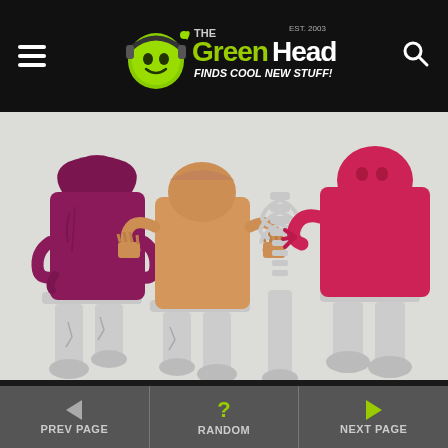The Green Head – Finds Cool New Stuff!
[Figure (photo): Zombie popsicle molds set featuring four zombie figures with white plastic mold bases shaped like zombie legs and feet. The frozen popsicle tops are in different colors: dark magenta/purple zombie, peach/skin-tone zombie with outstretched hands, a skeletal rib cage style, and a red/pink zombie.]
Kitchen
Zombie Popsicle Molds
PREV PAGE   RANDOM   NEXT PAGE